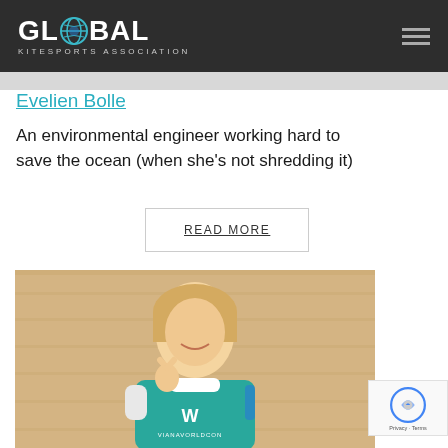GLOBAL KITESPORTS ASSOCIATION
Evelien Bolle
An environmental engineer working hard to save the ocean (when she's not shredding it)
READ MORE
[Figure (photo): Woman in teal Viana Worldcon kitesports jersey making a peace sign, smiling, standing in front of a wooden wall background]